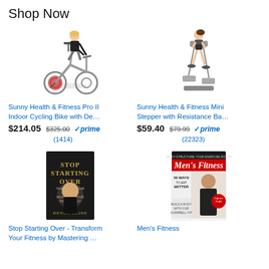Shop Now
[Figure (photo): Sunny Health & Fitness Pro II Indoor Cycling Bike - woman riding stationary bike]
Sunny Health & Fitness Pro II Indoor Cycling Bike with De…
$214.05 $325.00 ✓prime (1414 reviews, 4.5 stars)
[Figure (photo): Sunny Health & Fitness Mini Stepper with Resistance Bands - woman using stepper]
Sunny Health & Fitness Mini Stepper with Resistance Ba…
$59.40 $79.99 ✓prime (22323 reviews, 4.5 stars)
[Figure (photo): Book cover: Stop Starting Over - Transform Your Fitness by Mastering Your Psychology by Devan Kline]
Stop Starting Over - Transform Your Fitness by Mastering …
[Figure (photo): Men's Fitness magazine cover showing 55 Ways to Eat Better and Build a Body with our Dumbbell Hit Workout]
Men's Fitness